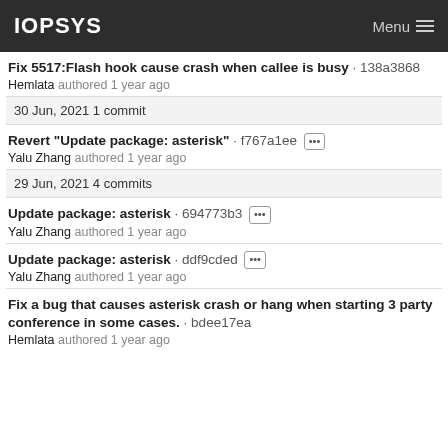IOPSYS   Menu
Fix 5517:Flash hook cause crash when callee is busy · 138a3868
Hemlata authored 1 year ago
30 Jun, 2021 1 commit
Revert "Update package: asterisk" · f767a1ee [...]
Yalu Zhang authored 1 year ago
29 Jun, 2021 4 commits
Update package: asterisk · 694773b3 [...]
Yalu Zhang authored 1 year ago
Update package: asterisk · ddf9cded [...]
Yalu Zhang authored 1 year ago
Fix a bug that causes asterisk crash or hang when starting 3 party conference in some cases. · bdee17ea
Hemlata authored 1 year ago